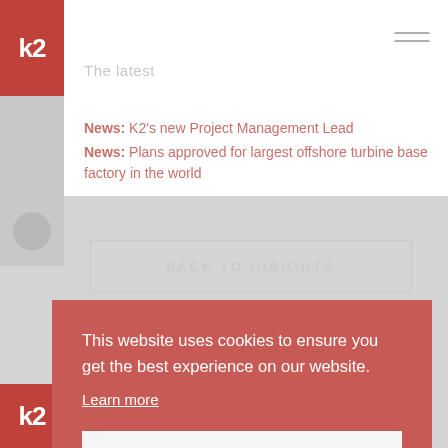[Figure (logo): K2 logo — white 'k2' text on red square background, top left]
The latest
News: K2's new Project Management Lead
News: Plans approved for largest offshore turbine base factory in the world
[Figure (photo): Partial person avatar/photo in gray block on left side]
BACK TO INSIGHTS
This website uses cookies to ensure you get the best experience on our website.
Learn more
Got it
[Figure (logo): K2 logo — white 'k2' text on red square background, bottom left]